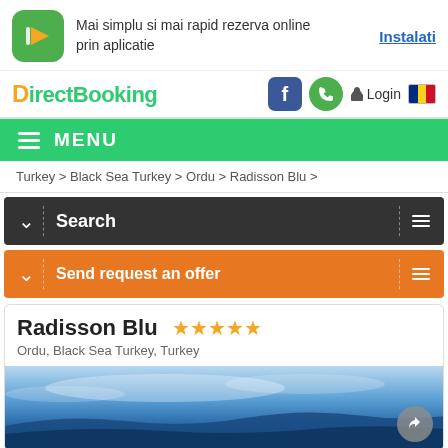[Figure (logo): DirectBooking app promotion banner with green app icon and text]
Mai simplu si mai rapid rezerva online prin aplicatie
Instalati
[Figure (logo): DirectBooking logo with navigation icons: Facebook, phone, Login, Romanian flag]
MENU
Turkey > Black Sea Turkey > Ordu > Radisson Blu >
Search
Send request an offer
Radisson Blu
Ordu, Black Sea Turkey, Turkey
[Figure (photo): Aerial/coastal photo of Ordu, Black Sea Turkey with blue sky and mountains]